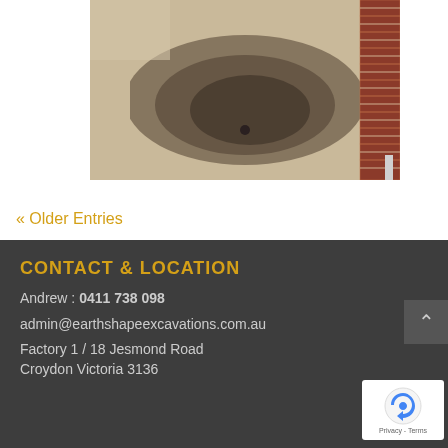[Figure (photo): Partial photograph of an outdoor area showing dark staining or discoloration on a concrete/paved surface near a brick wall, viewed from above.]
« Older Entries
CONTACT & LOCATION
Andrew : 0411 738 098
admin@earthshapeexcavations.com.au
Factory 1 / 18 Jesmond Road
Croydon Victoria 3136